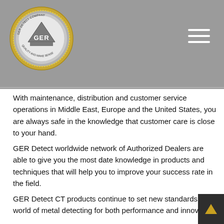[Figure (logo): GER Detect Company circular logo with gold border, grey background, showing a triangular shape and 'GER' text in the center]
With maintenance, distribution and customer service operations in Middle East, Europe and the United States, you are always safe in the knowledge that customer care is close to your hand.
GER Detect worldwide network of Authorized Dealers are able to give you the most date knowledge in products and techniques that will help you to improve your success rate in the field.
GER Detect CT products continue to set new standards in the world of metal detecting for both performance and innovation.